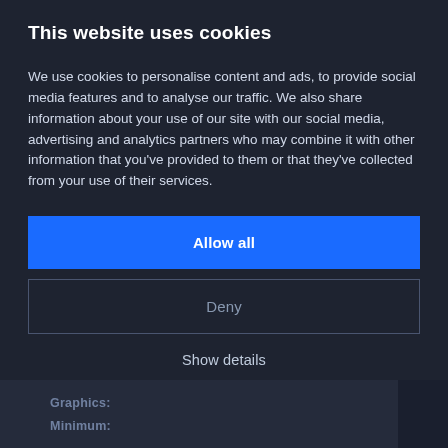This website uses cookies
We use cookies to personalise content and ads, to provide social media features and to analyse our traffic. We also share information about your use of our site with our social media, advertising and analytics partners who may combine it with other information that you've provided to them or that they've collected from your use of their services.
Allow all
Deny
Show details
Graphics:
Minimum: